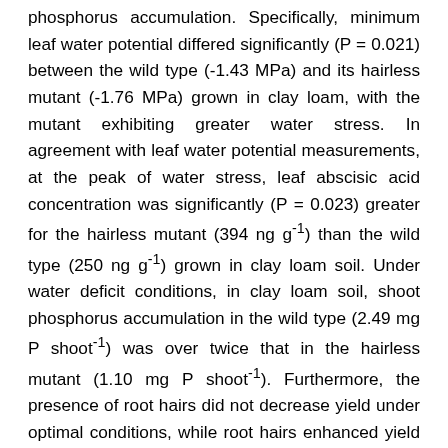phosphorus accumulation. Specifically, minimum leaf water potential differed significantly (P = 0.021) between the wild type (-1.43 MPa) and its hairless mutant (-1.76 MPa) grown in clay loam, with the mutant exhibiting greater water stress. In agreement with leaf water potential measurements, at the peak of water stress, leaf abscisic acid concentration was significantly (P = 0.023) greater for the hairless mutant (394 ng g⁻¹) than the wild type (250 ng g⁻¹) grown in clay loam soil. Under water deficit conditions, in clay loam soil, shoot phosphorus accumulation in the wild type (2.49 mg P shoot⁻¹) was over twice that in the hairless mutant (1.10 mg P shoot⁻¹). Furthermore, the presence of root hairs did not decrease yield under optimal conditions, while root hairs enhanced yield stability under drought. While yield of the hairless mutant significantly (P = 0.012) decreased from 2017 to 2018 in both clay